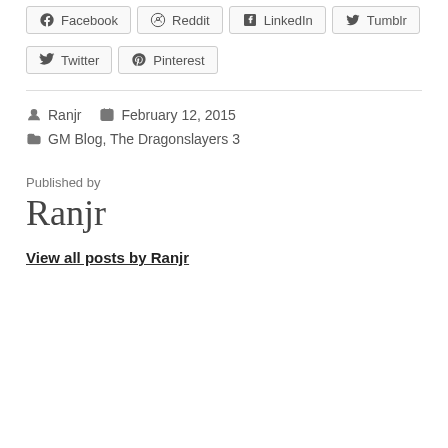Facebook
Reddit
LinkedIn
Tumblr
Twitter
Pinterest
Ranjr  February 12, 2015
GM Blog, The Dragonslayers 3
Published by
Ranjr
View all posts by Ranjr